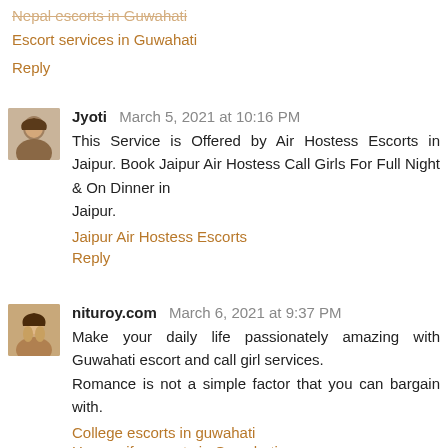Nepal escorts in Guwahati
Escort services in Guwahati
Reply
Jyoti  March 5, 2021 at 10:16 PM
This Service is Offered by Air Hostess Escorts in Jaipur. Book Jaipur Air Hostess Call Girls For Full Night & On Dinner in Jaipur.
Jaipur Air Hostess Escorts
Reply
nituroy.com  March 6, 2021 at 9:37 PM
Make your daily life passionately amazing with Guwahati escort and call girl services. Romance is not a simple factor that you can bargain with.
College escorts in guwahati
Housewife escorts in Guwahati